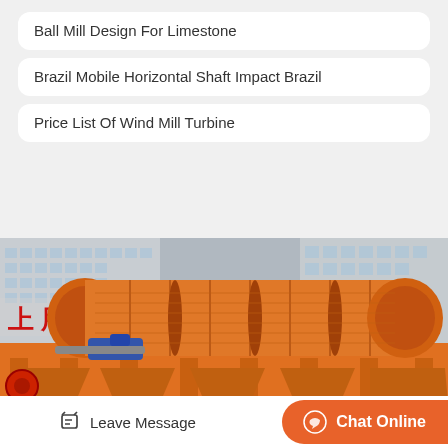Ball Mill Design For Limestone
Brazil Mobile Horizontal Shaft Impact Brazil
Price List Of Wind Mill Turbine
[Figure (photo): Industrial orange cylindrical drum screen / trommel machine with rotating screen drums, blue electric motors, mounted on orange steel frame structure, photographed outdoors with Chinese industrial building in background. Red Chinese text on wall.]
Leave Message
Chat Online